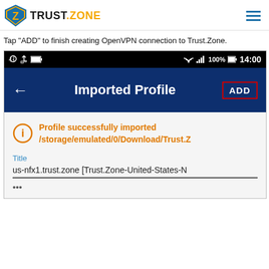TRUST.ZONE
Tap "ADD" to finish creating OpenVPN connection to Trust.Zone.
[Figure (screenshot): Android mobile screenshot showing 'Imported Profile' screen with status bar showing 14:00, 100% battery, WiFi signal. A dark blue app bar shows a back arrow, 'Imported Profile' title, and an ADD button with red border. Below, an orange info message reads 'Profile successfully imported /storage/emulated/0/Download/Trust.Z'. A Title field shows 'us-nfx1.trust.zone [Trust.Zone-United-States-N'.]